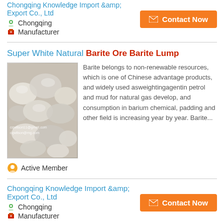Chongqing Knowledge Import &amp; Export Co., Ltd
Chongqing
Manufacturer
Contact Now
Super White Natural Barite Ore Barite Lump
[Figure (photo): White/grey barite ore rocks and lumps, with watermark text cqwilson11@gmail.com / cqwilson@mg.com]
Barite belongs to non-renewable resources, which is one of Chinese advantage products, and widely used asweightingagentin petrol and mud for natural gas develop, and consumption in barium chemical, padding and other field is increasing year by year. Barite...
Active Member
Chongqing Knowledge Import &amp; Export Co., Ltd
Chongqing
Manufacturer
Contact Now
Super White Natural Baso4 98 Barite Ore Barite Lump
Barite belongs to non-renewable resources, which is one of Chinese advantage products, and widely used...